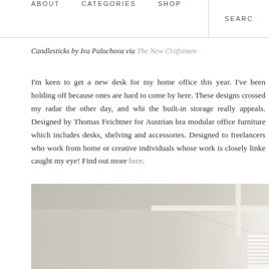ABOUT   CATEGORIES   SHOP   SEARCH
Candlesticks by Iva Palochova via The New Crafstmen
I'm keen to get a new desk for my home office this year. I've been holding off because ones are hard to come by here. These designs crossed my radar the other day, and whi the built-in storage really appeals. Designed by Thomas Feichtner for Austrian bra modular office furniture which includes desks, shelving and accessories. Designed to freelancers who work from home or creative individuals whose work is closely linke caught my eye! Find out more here.
[Figure (photo): Interior room photo showing a light beige/taupe painted wall and ceiling corner with white architectural molding trim detail and a partially visible window with blinds at the bottom right]